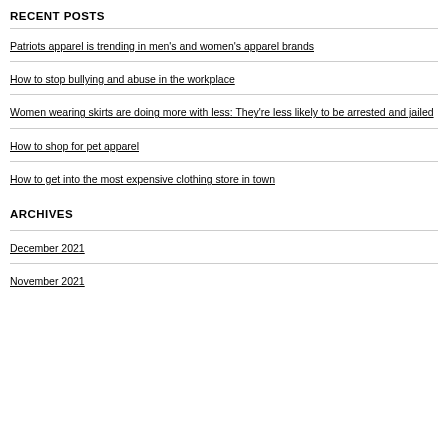RECENT POSTS
Patriots apparel is trending in men's and women's apparel brands
How to stop bullying and abuse in the workplace
Women wearing skirts are doing more with less: They're less likely to be arrested and jailed
How to shop for pet apparel
How to get into the most expensive clothing store in town
ARCHIVES
December 2021
November 2021